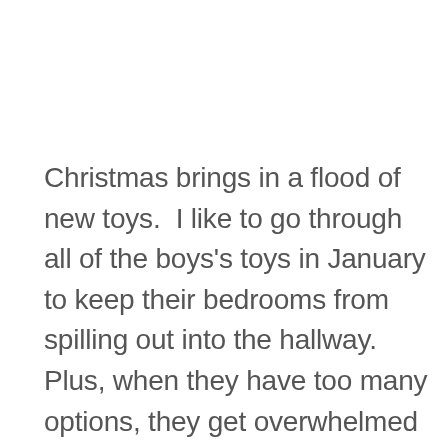Christmas brings in a flood of new toys.  I like to go through all of the boys's toys in January to keep their bedrooms from spilling out into the hallway.  Plus, when they have too many options, they get overwhelmed and don't even know what to play with.  The purge begins by giving each boy a laundry basket and asking them to fill it with things they don't play with anymore.  The first time I did this, they put in a tiny bouncy ball and a Shopkin.  Why we own Shopkins in a house of boys I am still not sure.